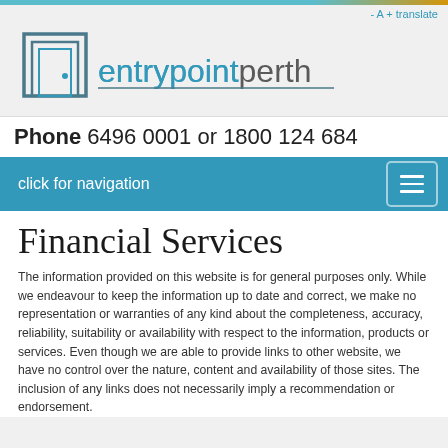- A + translate
[Figure (logo): entrypointperth logo with door icon and teal/grey text]
Phone 6496 0001 or 1800 124 684
click for navigation
Financial Services
The information provided on this website is for general purposes only. While we endeavour to keep the information up to date and correct, we make no representation or warranties of any kind about the completeness, accuracy, reliability, suitability or availability with respect to the information, products or services. Even though we are able to provide links to other website, we have no control over the nature, content and availability of those sites. The inclusion of any links does not necessarily imply a recommendation or endorsement.